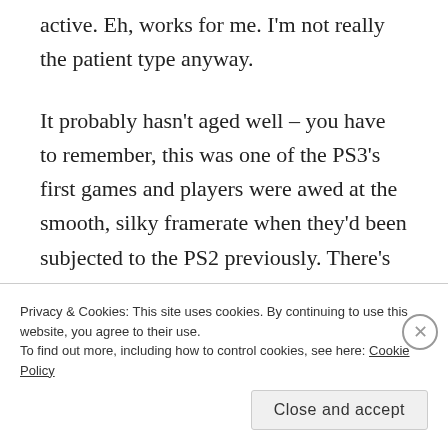active. Eh, works for me. I'm not really the patient type anyway.
It probably hasn't aged well – you have to remember, this was one of the PS3's first games and players were awed at the smooth, silky framerate when they'd been subjected to the PS2 previously. There's an obvious, massive leap in hardware and it's clear Insomniac wanted to
Privacy & Cookies: This site uses cookies. By continuing to use this website, you agree to their use.
To find out more, including how to control cookies, see here: Cookie Policy
Close and accept